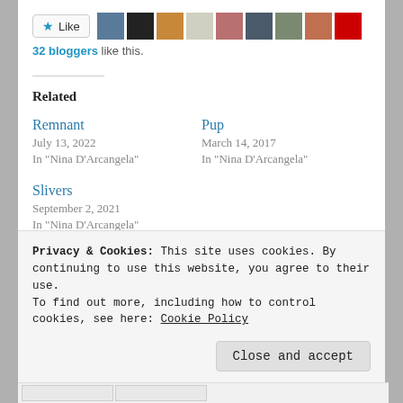[Figure (other): Like button with star icon and row of blogger avatar thumbnails]
32 bloggers like this.
Related
Remnant
July 13, 2022
In "Nina D'Arcangela"
Pup
March 14, 2017
In "Nina D'Arcangela"
Slivers
September 2, 2021
In "Nina D'Arcangela"
Privacy & Cookies: This site uses cookies. By continuing to use this website, you agree to their use.
To find out more, including how to control cookies, see here: Cookie Policy
Close and accept